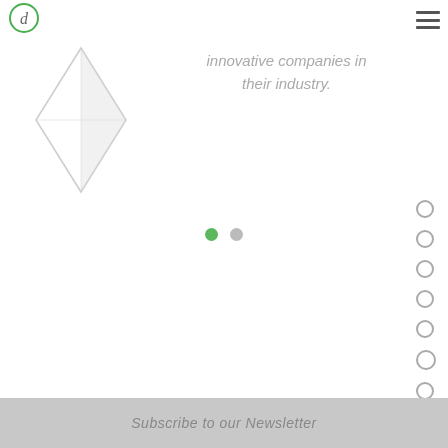[Figure (logo): Circular logo with letter d inside, green border, top left]
[Figure (illustration): Navigation hamburger menu icon, three horizontal lines, top right]
[Figure (illustration): Decorative diamond/rhombus shape in light gray, upper left area]
innovative companies in their industry.
[Figure (infographic): Slide indicator: one green filled circle and one gray filled circle]
[Figure (infographic): Vertical dot navigation on right side: 7 small circles, one larger]
Subscribe to our Newsletter